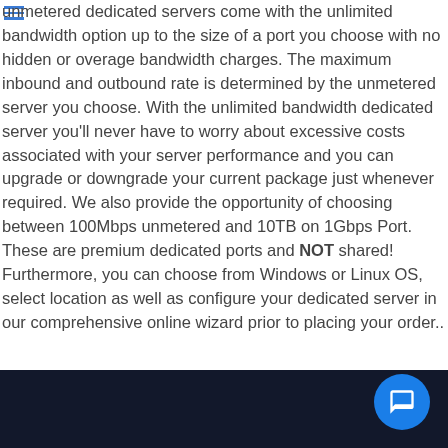unmetered dedicated servers come with the unlimited bandwidth option up to the size of a port you choose with no hidden or overage bandwidth charges. The maximum inbound and outbound rate is determined by the unmetered server you choose. With the unlimited bandwidth dedicated server you'll never have to worry about excessive costs associated with your server performance and you can upgrade or downgrade your current package just whenever required. We also provide the opportunity of choosing between 100Mbps unmetered and 10TB on 1Gbps Port. These are premium dedicated ports and NOT shared! Furthermore, you can choose from Windows or Linux OS, select location as well as configure your dedicated server in our comprehensive online wizard prior to placing your order..